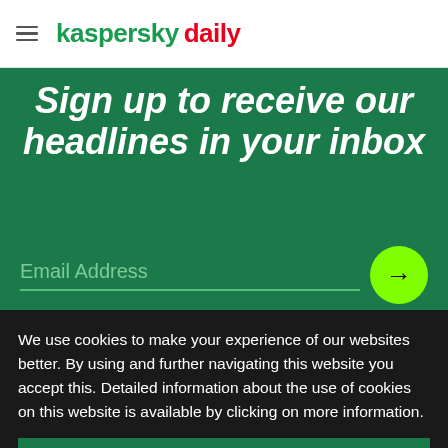kaspersky daily
Sign up to receive our headlines in your inbox
Email Address
I agree to provide my email address to "AO Kaspersky Lab" to receive information about new posts on the site. I understand that I can withdraw this consent at any time via e-mail by
We use cookies to make your experience of our websites better. By using and further navigating this website you accept this. Detailed information about the use of cookies on this website is available by clicking on more information.
ACCEPT AND CLOSE